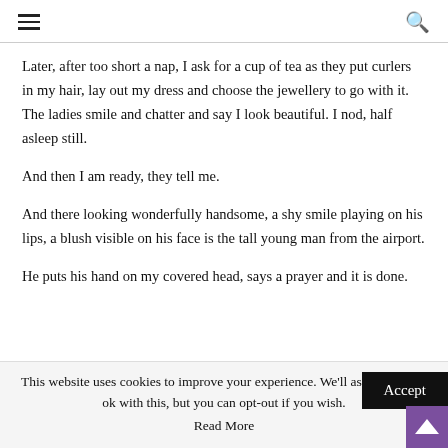≡  🔍
Later, after too short a nap, I ask for a cup of tea as they put curlers in my hair, lay out my dress and choose the jewellery to go with it. The ladies smile and chatter and say I look beautiful. I nod, half asleep still.
And then I am ready, they tell me.
And there looking wonderfully handsome, a shy smile playing on his lips, a blush visible on his face is the tall young man from the airport.
He puts his hand on my covered head, says a prayer and it is done.
This website uses cookies to improve your experience. We'll assume you're ok with this, but you can opt-out if you wish.
Accept
Read More